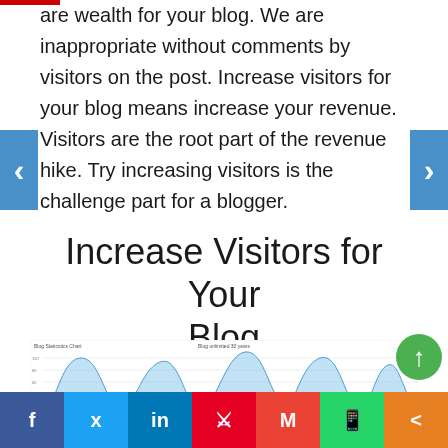are wealth for your blog. We are inappropriate without comments by visitors on the post. Increase visitors for your blog means increase your revenue. Visitors are the root part of the revenue hike. Try increasing visitors is the challenge part for a blogger.
Increase Visitors for Your Blog
[Figure (continuous-plot): Blog analytics area chart showing visitor traffic waves over time with blue shaded areas and small red highlights, labeled 'Blog Staticstics Chart']
Social share bar: Facebook, Twitter, LinkedIn, Pinterest, Gmail, WhatsApp, Share